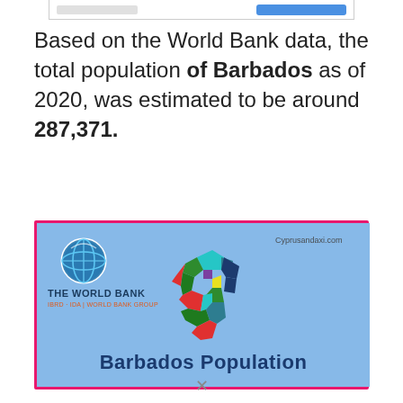Based on the World Bank data, the total population of Barbados as of 2020, was estimated to be around 287,371.
[Figure (infographic): World Bank branded infographic with a colorful map of Barbados and the text 'Barbados Population'. Includes The World Bank logo on the left and Cyprusandaxi.com watermark on the right. Light blue background with hot pink border.]